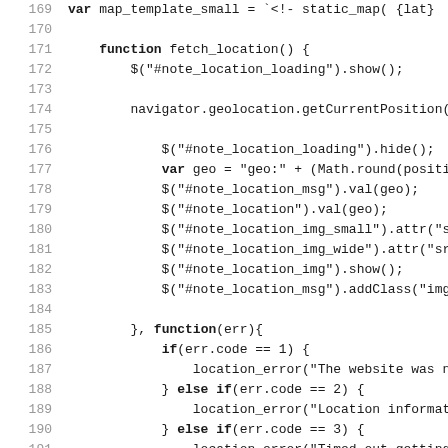169    var map_template_small = `<!-- static_map( {lat}
170
171    function fetch_location() {
172        $("#note_location_loading").show();
173
174        navigator.geolocation.getCurrentPosition(funct
175
176            $("#note_location_loading").hide();
177            var geo = "geo:" + (Math.round(position.coor
178            $("#note_location_msg").val(geo);
179            $("#note_location").val(geo);
180            $("#note_location_img_small").attr("src", ma
181            $("#note_location_img_wide").attr("src", map
182            $("#note_location_img").show();
183            $("#note_location_msg").addClass("img-visibl
184
185        }, function(err){
186            if(err.code == 1) {
187                location_error("The website was not able t
188            } else if(err.code == 2) {
189                location_error("Location information was u
190            } else if(err.code == 3) {
191                location_error("Timed out getting location